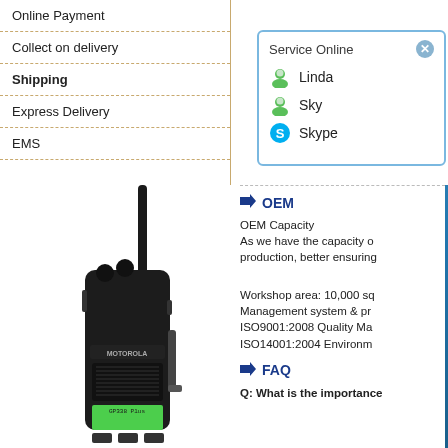Online Payment
Collect on delivery
Shipping
Express Delivery
EMS
[Figure (screenshot): Service Online popup with contacts: Linda, Sky, Skype]
[Figure (photo): Motorola GP338 Plus handheld two-way radio/walkie-talkie, black, with antenna and green display]
[Figure (photo): Blue decorative background with diamond pattern]
OEM
OEM Capacity
As we have the capacity of production, better ensuring
Workshop area: 10,000 sq
Management system & pr
ISO9001:2008 Quality Ma
ISO14001:2004 Environm
FAQ
Q: What is the importance